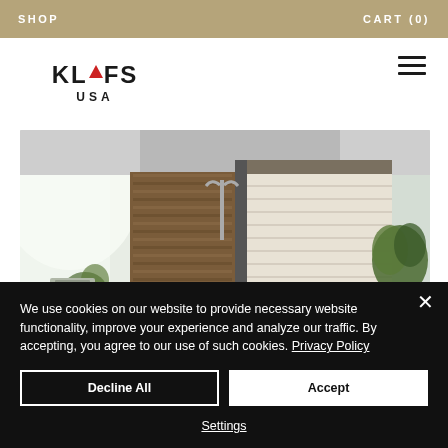SHOP   CART (0)
[Figure (logo): KLAFS USA logo with red triangle between K and L]
[Figure (photo): Interior photo of a sauna/wellness room with wooden slat wall panel, white sauna cabin, shower fixtures, and green plants]
We use cookies on our website to provide necessary website functionality, improve your experience and analyze our traffic. By accepting, you agree to our use of such cookies. Privacy Policy
Decline All
Accept
Settings